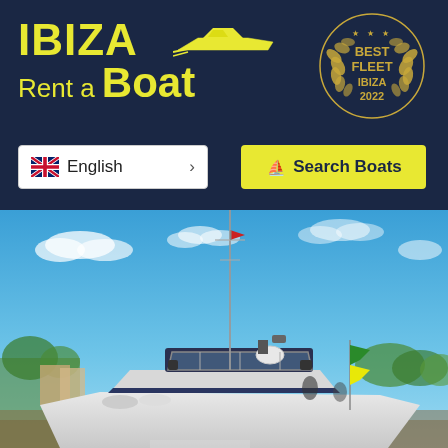[Figure (logo): Ibiza Rent a Boat logo with yellow text on dark navy background, with a yellow speedboat icon]
[Figure (logo): Best Fleet Ibiza 2022 award badge with gold laurel wreath on dark navy background]
[Figure (other): English language selector button with UK flag]
[Figure (other): Yellow Search Boats button with boat icon]
[Figure (photo): Photo of a luxury yacht/boat with white hull, dark canopy, antenna mast, and radar equipment against a blue sky with scattered clouds. Green flag visible. Marina and palm trees in background.]